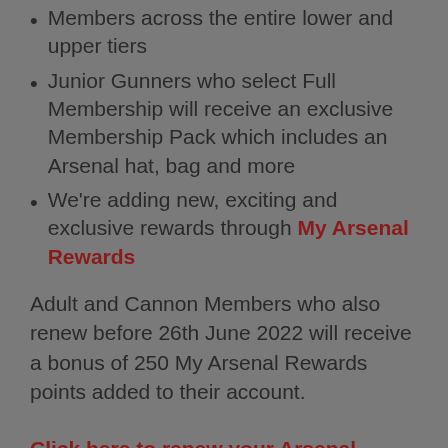Members across the entire lower and upper tiers
Junior Gunners who select Full Membership will receive an exclusive Membership Pack which includes an Arsenal hat, bag and more
We're adding new, exciting and exclusive rewards through My Arsenal Rewards
Adult and Cannon Members who also renew before 26th June 2022 will receive a bonus of 250 My Arsenal Rewards points added to their account.
Click here to renew your Arsenal Membership now
Click here you would like to register your interest as a new Member for the 2022/23 season